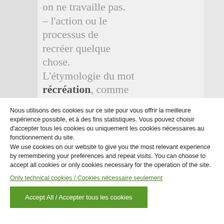on ne travaille pas. – l'action ou le processus de recréer quelque chose. L'étymologie du mot récréation, comme le mot original de
Nous utilisons des cookies sur ce site pour vous offrir la meilleure expérience possible, et à des fins statistiques. Vous pouvez choisir d'accepter tous les cookies ou uniquement les cookies nécessaires au fonctionnement du site.
We use cookies on our website to give you the most relevant experience by remembering your preferences and repeat visits. You can choose to accept all cookies or only cookies necessary for the operation of the site.
Only technical cookies / Cookies nécessaire seulement
Accept All / Accepter tous les cookies